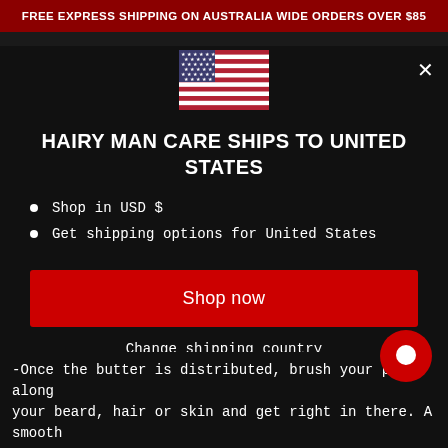FREE EXPRESS SHIPPING ON AUSTRALIA WIDE ORDERS OVER $85
[Figure (illustration): American flag emoji/icon]
HAIRY MAN CARE SHIPS TO UNITED STATES
Shop in USD $
Get shipping options for United States
Shop now
Change shipping country
-Once the butter is distributed, brush your palms along your beard, hair or skin and get right in there. A smooth